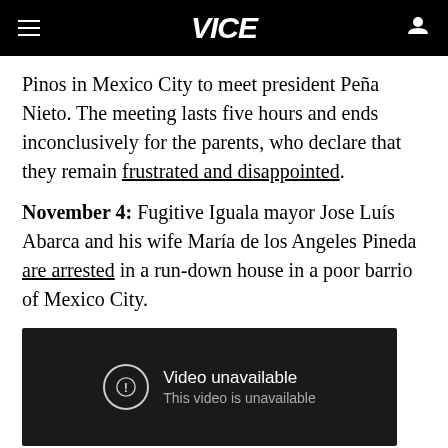VICE
Pinos in Mexico City to meet president Peña Nieto. The meeting lasts five hours and ends inconclusively for the parents, who declare that they remain frustrated and disappointed.
November 4: Fugitive Iguala mayor Jose Luís Abarca and his wife María de los Angeles Pineda are arrested in a run-down house in a poor barrio of Mexico City.
[Figure (screenshot): Video unavailable placeholder box with exclamation icon. Text reads: 'Video unavailable' and 'This video is unavailable']